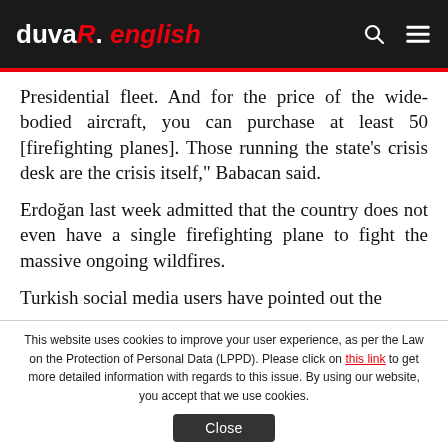duvaR. english
Presidential fleet. And for the price of the wide-bodied aircraft, you can purchase at least 50 [firefighting planes]. Those running the state's crisis desk are the crisis itself," Babacan said.
Erdoğan last week admitted that the country does not even have a single firefighting plane to fight the massive ongoing wildfires.
Turkish social media users have pointed out the
This website uses cookies to improve your user experience, as per the Law on the Protection of Personal Data (LPPD). Please click on this link to get more detailed information with regards to this issue. By using our website, you accept that we use cookies.
Close